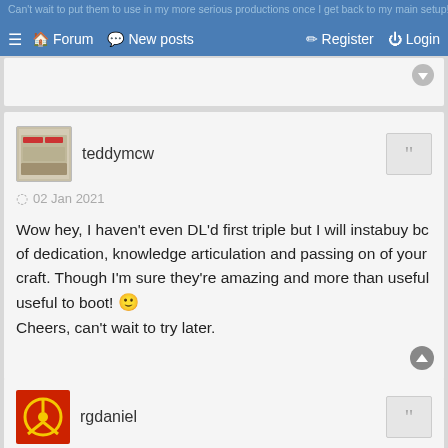Can't wait to put them to use in my more serious productions once I get back to my main setup!
≡  🏠 Forum  💬 New posts  ✏ Register  ⏻ Login
teddymcw
02 Jan 2021
Wow hey, I haven't even DL'd first triple but I will instabuy bc of dedication, knowledge articulation and passing on of your craft. Though I'm sure they're amazing and more than useful useful to boot! 😀
Cheers, can't wait to try later.
rgdaniel